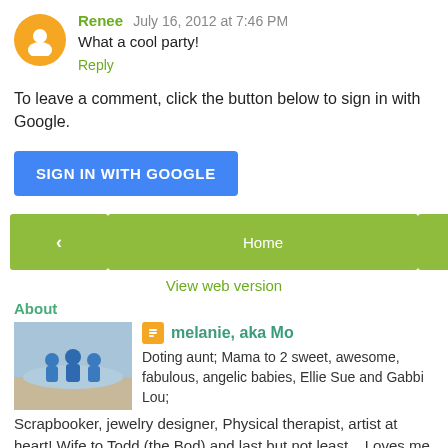Renee July 16, 2012 at 7:46 PM
What a cool party!
Reply
To leave a comment, click the button below to sign in with Google.
[Figure (other): SIGN IN WITH GOOGLE button (blue)]
[Figure (other): Navigation bar with left arrow, Home, right arrow buttons (green)]
View web version
About
[Figure (photo): Photo of people on a beach/shore in blue shirts]
melanie, aka Mo
Doting aunt; Mama to 2 sweet, awesome, fabulous, angelic babies, Ellie Sue and Gabbi Lou; Scrapbooker, jewelry designer, Physical therapist, artist at heart! Wife to Todd (the Bod),and last but not least... Loves me some